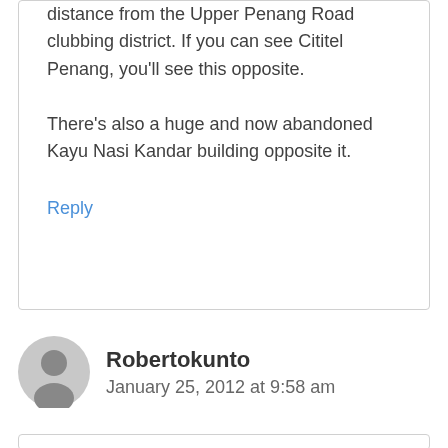distance from the Upper Penang Road clubbing district. If you can see Cititel Penang, you'll see this opposite.
There's also a huge and now abandoned Kayu Nasi Kandar building opposite it.
Reply
Robertokunto
January 25, 2012 at 9:58 am
Nasi Kandar just aint the same since they